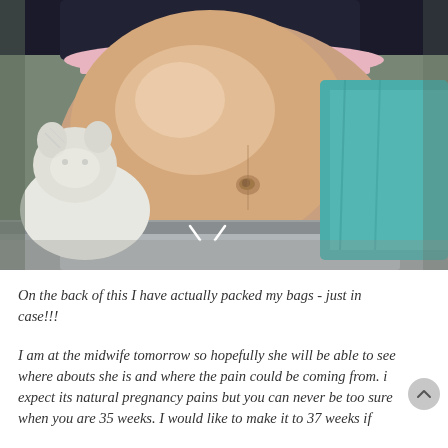[Figure (photo): Close-up photo of a pregnant woman's bare baby bump, wearing a black top and grey sweatpants with pink waistband visible. A white stuffed animal toy is to the left and teal fabric to the right. The woman is seated on a grey textured couch/chair.]
On the back of this I have actually packed my bags - just in case!!!
I am at the midwife tomorrow so hopefully she will be able to see where abouts she is and where the pain could be coming from. i expect its natural pregnancy pains but you can never be too sure when you are 35 weeks. I would like to make it to 37 weeks if